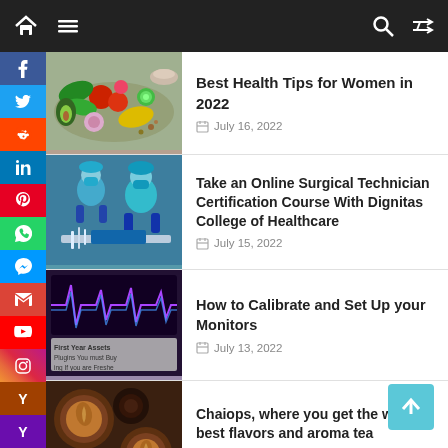Navigation bar with home, menu, search, and shuffle icons
Best Health Tips for Women in 2022 — July 16, 2022
Take an Online Surgical Technician Certification Course With Dignitas College of Healthcare — July 15, 2022
How to Calibrate and Set Up your Monitors — July 13, 2022
Chaiops, where you get the world's best flavors and aroma tea — July 8, 2022